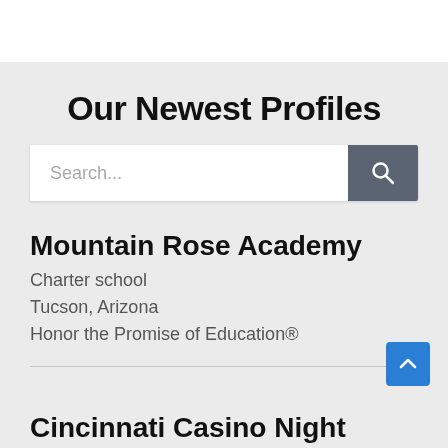Our Newest Profiles
Mountain Rose Academy
Charter school
Tucson, Arizona
Honor the Promise of Education®
Cincinnati Casino Night